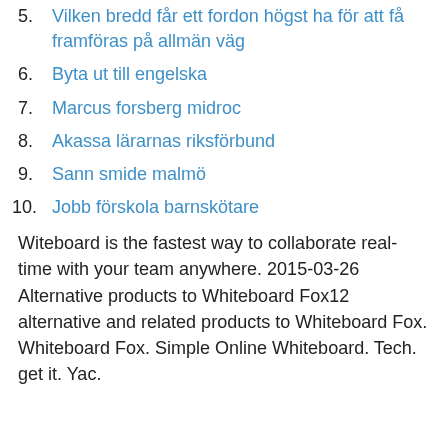5. Vilken bredd får ett fordon högst ha för att få framföras på allmän väg
6. Byta ut till engelska
7. Marcus forsberg midroc
8. Akassa lärarnas riksförbund
9. Sann smide malmö
10. Jobb förskola barnskötare
Witeboard is the fastest way to collaborate real-time with your team anywhere. 2015-03-26 Alternative products to Whiteboard Fox12 alternative and related products to Whiteboard Fox. Whiteboard Fox. Simple Online Whiteboard. Tech. get it. Yac.